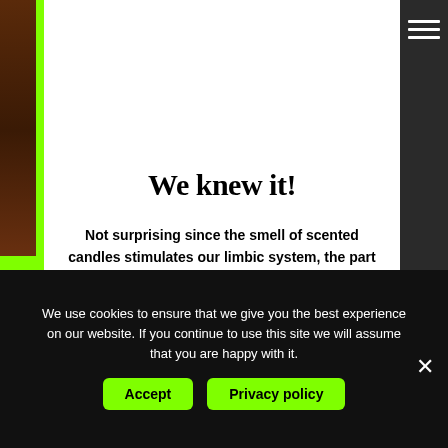We knew it!
Not surprising since the smell of scented candles stimulates our limbic system, the part of the brain that is home to our memory and emotions. Hormones like serotonin and dopamine can be produced to help regulate mood.
We use cookies to ensure that we give you the best experience on our website. If you continue to use this site we will assume that you are happy with it.
Accept
Privacy policy